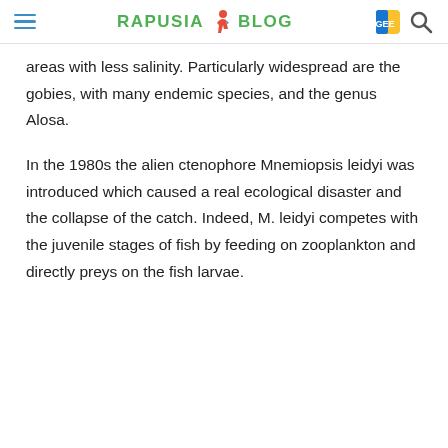RAPUSIA BLOG
areas with less salinity. Particularly widespread are the gobies, with many endemic species, and the genus Alosa.
In the 1980s the alien ctenophore Mnemiopsis leidyi was introduced which caused a real ecological disaster and the collapse of the catch. Indeed, M. leidyi competes with the juvenile stages of fish by feeding on zooplankton and directly preys on the fish larvae.